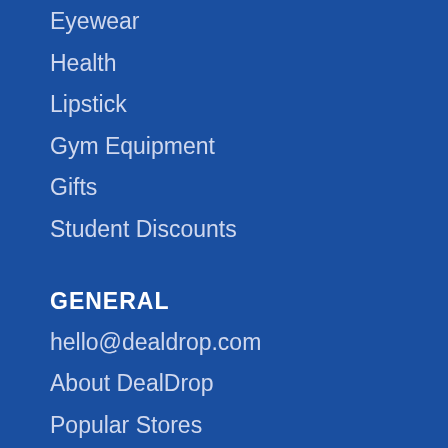Eyewear
Health
Lipstick
Gym Equipment
Gifts
Student Discounts
GENERAL
hello@dealdrop.com
About DealDrop
Popular Stores
Submit a Coupon
DealDrop Research